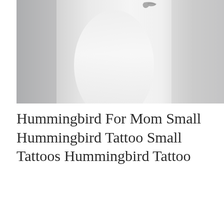[Figure (photo): A close-up photograph showing what appears to be a person's neck/shoulder area with light gray tones, light background. A small bird (hummingbird) shape is faintly visible at the top.]
Hummingbird For Mom Small Hummingbird Tattoo Small Tattoos Hummingbird Tattoo